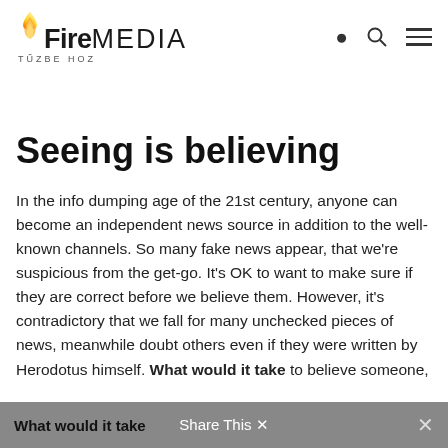Fire MEDIA TŰZBE HOZ
Seeing is believing
In the info dumping age of the 21st century, anyone can become an independent news source in addition to the well-known channels. So many fake news appear, that we're suspicious from the get-go. It's OK to want to make sure if they are correct before we believe them. However, it's contradictory that we fall for many unchecked pieces of news, meanwhile doubt others even if they were written by Herodotus himself. What would it take to believe someone,
Share This ✕